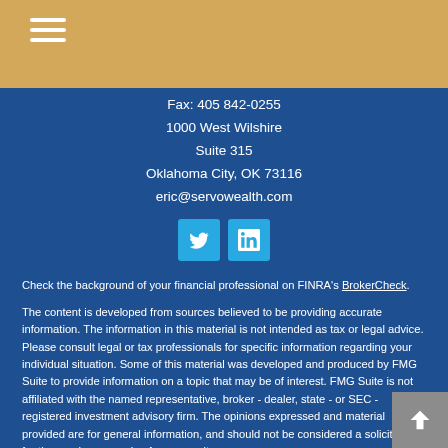[Figure (other): Hamburger menu icon with three white horizontal lines on tan header background]
Fax: 405 842-0255
1000 West Wilshire
Suite 315
Oklahoma City, OK 73116
eric@servowealth.com
[Figure (other): Twitter and LinkedIn social media icon buttons in blue]
Check the background of your financial professional on FINRA's BrokerCheck.
The content is developed from sources believed to be providing accurate information. The information in this material is not intended as tax or legal advice. Please consult legal or tax professionals for specific information regarding your individual situation. Some of this material was developed and produced by FMG Suite to provide information on a topic that may be of interest. FMG Suite is not affiliated with the named representative, broker - dealer, state - or SEC - registered investment advisory firm. The opinions expressed and material provided are for general information, and should not be considered a solicitation for the purchase or sale of any security.
We take protecting your data and privacy very seriously. As of January 1, 2020 the California Consumer Privacy Act (CCPA) suggests the following link as an extra